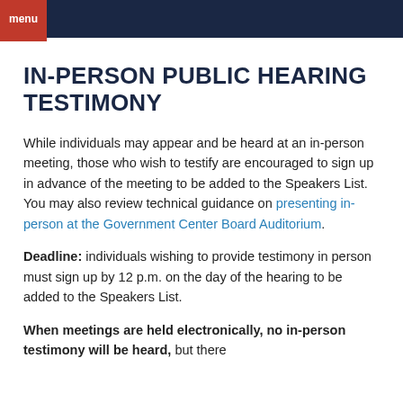menu
IN-PERSON PUBLIC HEARING TESTIMONY
While individuals may appear and be heard at an in-person meeting, those who wish to testify are encouraged to sign up in advance of the meeting to be added to the Speakers List. You may also review technical guidance on presenting in-person at the Government Center Board Auditorium.
Deadline: individuals wishing to provide testimony in person must sign up by 12 p.m. on the day of the hearing to be added to the Speakers List.
When meetings are held electronically, no in-person testimony will be heard, but there